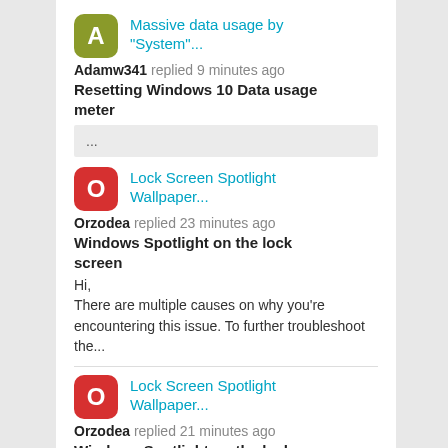[Figure (screenshot): Forum/community feed showing three discussion post entries with avatars, usernames, timestamps, titles and snippets]
Massive data usage by "System"...
Adamw341 replied 9 minutes ago
Resetting Windows 10 Data usage meter
...
Lock Screen Spotlight Wallpaper...
Orzodea replied 23 minutes ago
Windows Spotlight on the lock screen
Hi,
There are multiple causes on why you're encountering this issue. To further troubleshoot the...
Lock Screen Spotlight Wallpaper...
Orzodea replied 21 minutes ago
Windows Spotlight on the lock screen
Hi,